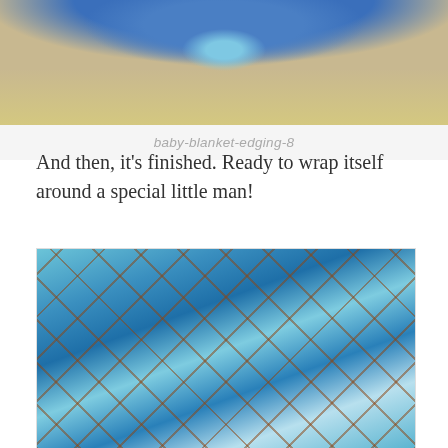[Figure (photo): Close-up photo of a blue crocheted blanket edging, showing decorative blue crochet pattern against a wooden background]
baby-blanket-edging-8
And then, it's finished. Ready to wrap itself around a special little man!
[Figure (photo): Photo of a completed baby blanket laid flat on a wooden floor, showing a patchwork crochet pattern in blue, light blue, white, and brown colors with various square motifs including hearts and geometric patterns]